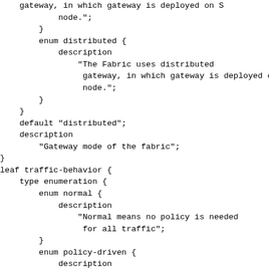gateway, in which gateway is deployed on S
            node.";
        }
        enum distributed {
            description
                "The Fabric uses distributed
                 gateway, in which gateway is deployed on L
                 node.";
        }
    }
    default "distributed";
    description
        "Gateway mode of the fabric";
}
leaf traffic-behavior {
    type enumeration {
        enum normal {
            description
                "Normal means no policy is needed
                 for all traffic";
        }
        enum policy-driven {
            description
                "Policy driven means policy is
                 needed for the traffic; otherwise, the tra
                 will be discarded.";
        }
    }
    default "normal";
    description
        "Traffic behavior of the fabric";